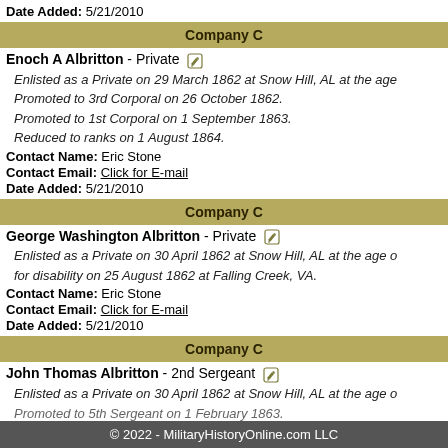Date Added:  5/21/2010
Company C
Enoch A Albritton - Private
Enlisted as a Private on 29 March 1862 at Snow Hill, AL at the age Promoted to 3rd Corporal on 26 October 1862. Promoted to 1st Corporal on 1 September 1863. Reduced to ranks on 1 August 1864.
Contact Name:  Eric Stone
Contact Email:  Click for E-mail
Date Added:  5/21/2010
Company C
George Washington Albritton - Private
Enlisted as a Private on 30 April 1862 at Snow Hill, AL at the age o for disability on 25 August 1862 at Falling Creek, VA.
Contact Name:  Eric Stone
Contact Email:  Click for E-mail
Date Added:  5/21/2010
Company C
John Thomas Albritton - 2nd Sergeant
Enlisted as a Private on 30 April 1862 at Snow Hill, AL at the age o Promoted to 5th Sergeant on 1 February 1863.
© 2022 - MilitaryHistoryOnline.com LLC